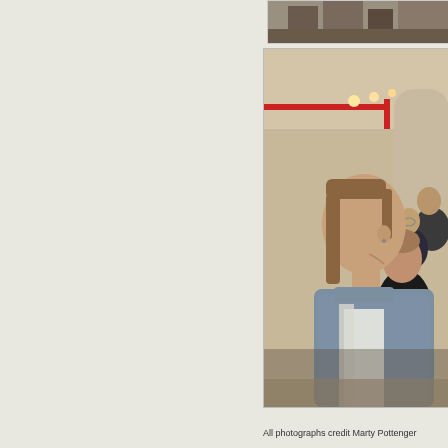[Figure (photo): Partial view of a photograph at the top right, showing figures in what appears to be an indoor venue]
[Figure (photo): Photograph of several women seated in profile, watching something, in an industrial or vaulted venue with red pipes and warm ceiling lights]
All photographs credit Marty Pottenger